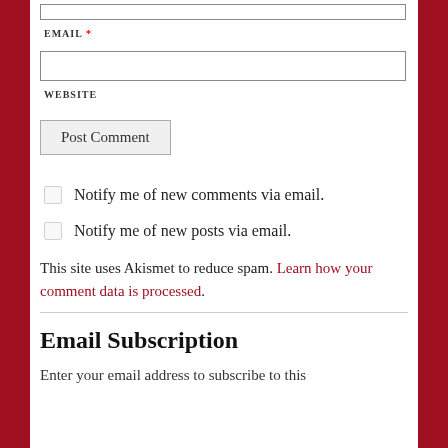EMAIL *
WEBSITE
Post Comment
Notify me of new comments via email.
Notify me of new posts via email.
This site uses Akismet to reduce spam. Learn how your comment data is processed.
Email Subscription
Enter your email address to subscribe to this